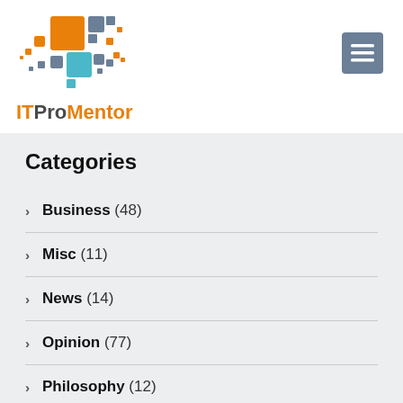[Figure (logo): ITProMentor logo with colorful pixel/square mosaic graphic above the text. Orange, blue-gray, and teal squares arranged in a cluster. Text reads ITProMentor with orange and dark gray coloring.]
Categories
Business (48)
Misc (11)
News (14)
Opinion (77)
Philosophy (12)
Productivity (26)